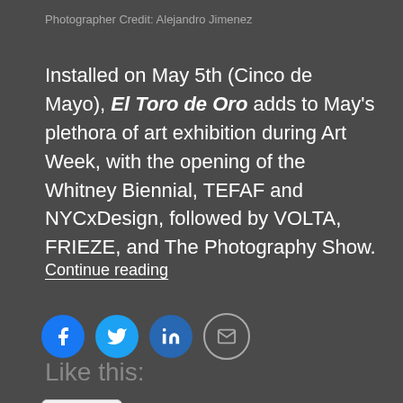Photographer Credit: Alejandro Jimenez
Installed on May 5th (Cinco de Mayo), El Toro de Oro adds to May's plethora of art exhibition during Art Week, with the opening of the Whitney Biennial, TEFAF and NYCxDesign, followed by VOLTA, FRIEZE, and The Photography Show.
Continue reading
[Figure (infographic): Four social share icon buttons: Facebook (blue circle), Twitter (blue circle), LinkedIn (blue square-rounded circle), Email (grey outlined circle with envelope icon)]
Like this:
Like
Be the first to like this.